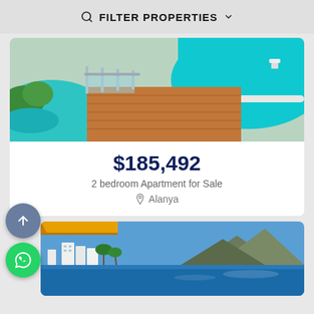FILTER PROPERTIES
[Figure (photo): Rooftop swimming pool with wooden deck and glass railing]
$185,492
2 bedroom Apartment for Sale
Alanya
[Figure (photo): Apartment building with sea and mountain view, blue sky]